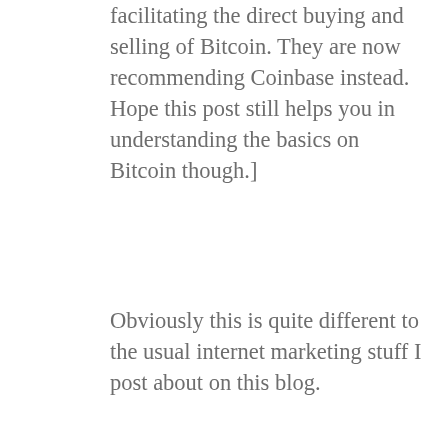facilitating the direct buying and selling of Bitcoin. They are now recommending Coinbase instead. Hope this post still helps you in understanding the basics on Bitcoin though.]
Obviously this is quite different to the usual internet marketing stuff I post about on this blog.
But it's something that interests me so I thought I'd share it with you too □
First, here's a short video I made for you:
[Figure (screenshot): YouTube video thumbnail showing a man's avatar photo, the title 'Watch Me Buy, Send, Sell A...' with a three-dot menu icon, on a dark background.]